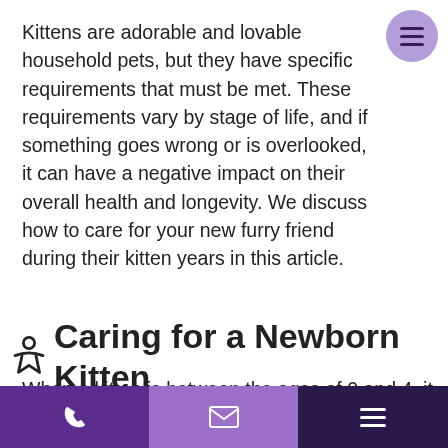Kittens are adorable and lovable household pets, but they have specific requirements that must be met. These requirements vary by stage of life, and if something goes wrong or is overlooked, it can have a negative impact on their overall health and longevity. We discuss how to care for your new furry friend during their kitten years in this article.
Caring for a Newborn Kitten
When a kitten is between the ages of 0 and 4, it is considered a newborn because it is still learning to meow, walk, and regulate its body temperature. If they have a mother, she will be able to take care of the majority of the work, including feeding. All you have to do is ensure that the mother is healthy and that they are in a warm and secure environment. Make sure their crate/area has a
phone | email | menu